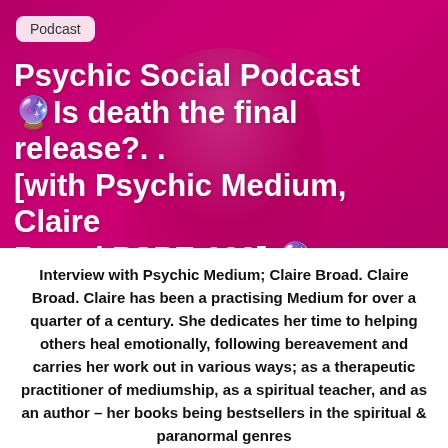[Figure (photo): Hero image with pink/magenta background showing a woman with glasses, overlaid with podcast title text]
Podcast
Psychic Social Podcast 🔮Is death the final release?.. [with Psychic Medium, Claire Broad PSPE:023] 🔮
Interview with Psychic Medium; Claire Broad. Claire Broad. Claire has been a practising Medium for over a quarter of a century. She dedicates her time to helping others heal emotionally, following bereavement and carries her work out in various ways; as a therapeutic practitioner of mediumship, as a spiritual teacher, and as an author – her books being bestsellers in the spiritual & paranormal genres